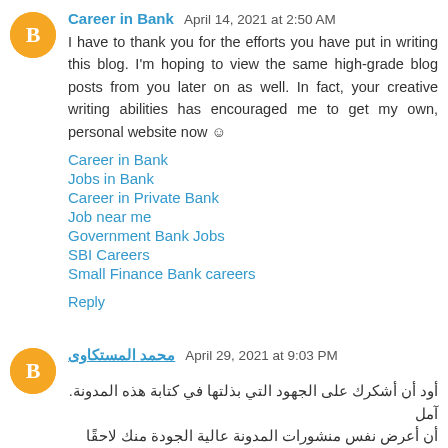Career in Bank  April 14, 2021 at 2:50 AM
I have to thank you for the efforts you have put in writing this blog. I'm hoping to view the same high-grade blog posts from you later on as well. In fact, your creative writing abilities has encouraged me to get my own, personal website now ☺
Career in Bank
Jobs in Bank
Career in Private Bank
Job near me
Government Bank Jobs
SBI Careers
Small Finance Bank careers
Reply
محمد المستكاوى  April 29, 2021 at 9:03 PM
أود أن أشكرك على الجهود التي بذلتها في كتابة هذه المدونة. آمل أن أعرض نفس منشورات المدونة عالية الجودة منك لاحقًا https://www.keys77.com/